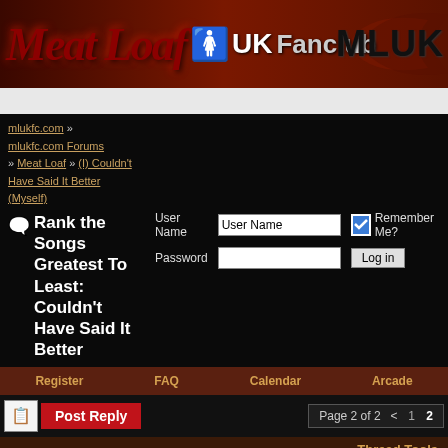[Figure (illustration): Meat Loaf UK Fanclub banner with dark red/brown background, stylized gothic text 'Meat Loaf' in red, 'UK Fanclub' in white/grey, and 'MLUK' logo on right with bat wing motifs]
mlukfc.com » mlukfc.com Forums » Meat Loaf » (I) Couldn't Have Said It Better (Myself)
Rank the Songs Greatest To Least: Couldn't Have Said It Better
User Name | Password | Remember Me? | Log in
Register
FAQ
Calendar
Arcade
Post Reply  Page 2 of 2  <  1  2
Thread Tools
07 Jan 2011, 01:12  #26
mariella
Mega Loafer
Testify (the world missed out on